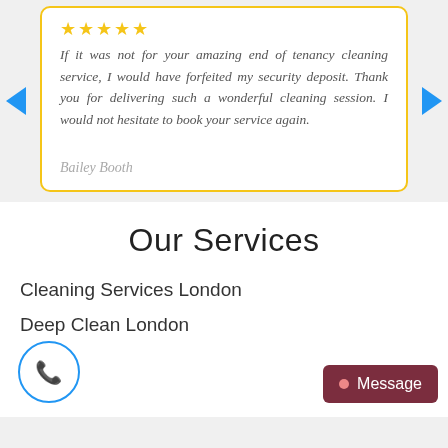If it was not for your amazing end of tenancy cleaning service, I would have forfeited my security deposit. Thank you for delivering such a wonderful cleaning session. I would not hesitate to book your service again.
Bailey Booth
Our Services
Cleaning Services London
Deep Clean London